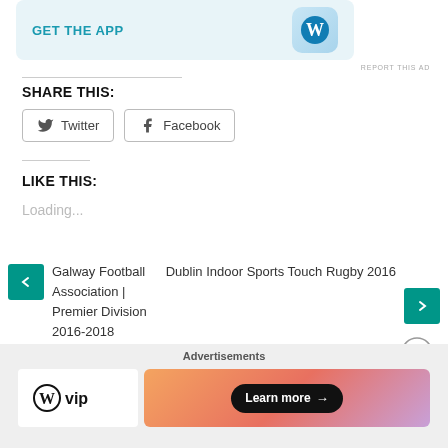[Figure (screenshot): WordPress app advertisement banner with 'GET THE APP' text and WordPress logo icon]
REPORT THIS AD
SHARE THIS:
[Figure (screenshot): Twitter and Facebook social share buttons]
LIKE THIS:
Loading...
Galway Football Association | Premier Division 2016-2018
Dublin Indoor Sports Touch Rugby 2016
LEAVE A REPLY
[Figure (screenshot): Bottom advertisement with Advertisements label, WordPress VIP logo and Learn more button]